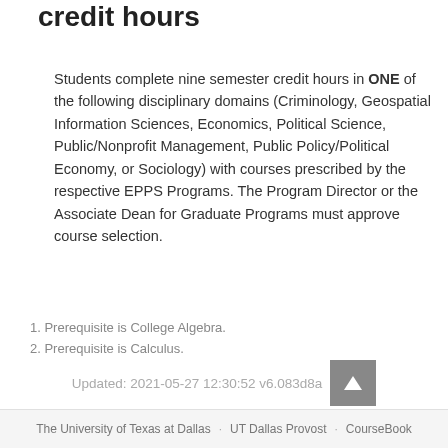credit hours
Students complete nine semester credit hours in ONE of the following disciplinary domains (Criminology, Geospatial Information Sciences, Economics, Political Science, Public/Nonprofit Management, Public Policy/Political Economy, or Sociology) with courses prescribed by the respective EPPS Programs. The Program Director or the Associate Dean for Graduate Programs must approve course selection.
1. Prerequisite is College Algebra.
2. Prerequisite is Calculus.
Updated: 2021-05-27 12:30:52 v6.083d8a
The University of Texas at Dallas · UT Dallas Provost · CourseBook